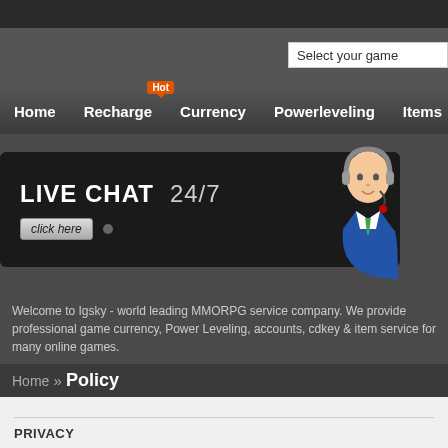Select your game
[Figure (screenshot): Navigation bar with Home, Recharge (Hot), Currency, Powerleveling, Items menu items]
[Figure (infographic): Live Chat 24/7 banner with click here button and customer service agent icon]
Welcome to Igsky - world leading MMORPG service company. We provide professional game currency, Power Leveling, accounts, cdkey & item service for many online games.
Home » Policy
PRIVACY
Igsky.com is committed to protecting your private information. No data will be transmitted. It gathers private identifiable information including your e-mail address, name, home or work. Please notice that if you directly reveal private identifiable information or private sensitive information in public online forums, this information maybe gathered and used by others. The company is not responsible for websites you choose to gather, use and share your information. The company is not in control of data outside of the Company's web page.